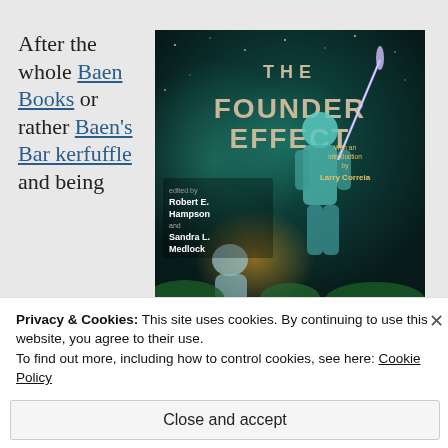After the whole Baen Books or rather Baen's Bar kerfuffle and being
[Figure (illustration): Book cover of 'The Founder Effect', edited by Robert E. Hampson and Sandra L. Medlock, with an introduction by Larry Correia. Shows sci-fi space scene with armored figure holding a glowing weapon.]
Privacy & Cookies: This site uses cookies. By continuing to use this website, you agree to their use.
To find out more, including how to control cookies, see here: Cookie Policy
Close and accept